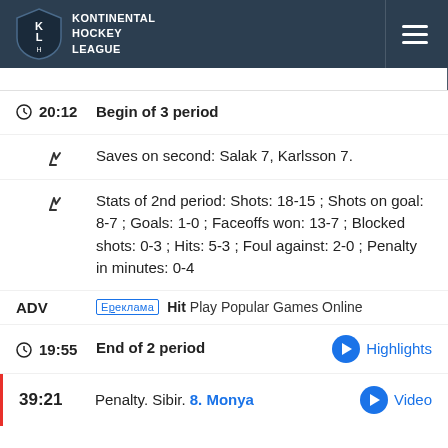KHL Kontinental Hockey League
20:12 Begin of 3 period
Saves on second: Salak 7, Karlsson 7.
Stats of 2nd period: Shots: 18-15 ; Shots on goal: 8-7 ; Goals: 1-0 ; Faceoffs won: 13-7 ; Blocked shots: 0-3 ; Hits: 5-3 ; Foul against: 2-0 ; Penalty in minutes: 0-4
ADV Ереклама Hit Play Popular Games Online
19:55 End of 2 period Highlights
39:21 Penalty. Sibir. 8. Monya Video